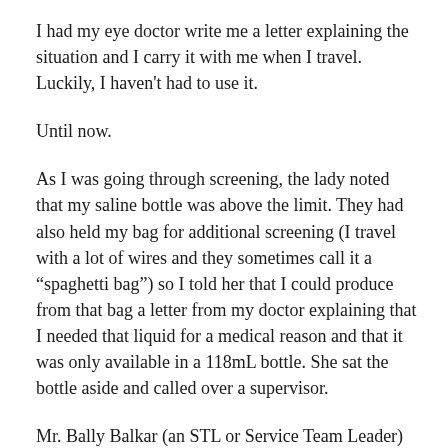I had my eye doctor write me a letter explaining the situation and I carry it with me when I travel. Luckily, I haven't had to use it.
Until now.
As I was going through screening, the lady noted that my saline bottle was above the limit. They had also held my bag for additional screening (I travel with a lot of wires and they sometimes call it a “spaghetti bag”) so I told her that I could produce from that bag a letter from my doctor explaining that I needed that liquid for a medical reason and that it was only available in a 118mL bottle. She sat the bottle aside and called over a supervisor.
Mr. Bally Balkar (an STL or Service Team Leader) arrived and I dutifully showed him my letter. He seemed very confused, although the letter explained